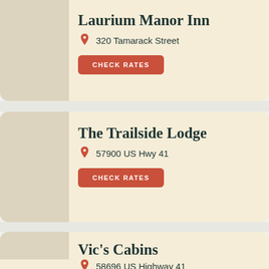Laurium Manor Inn
320 Tamarack Street
CHECK RATES
The Trailside Lodge
57900 US Hwy 41
CHECK RATES
Vic's Cabins
58696 US Highway 41